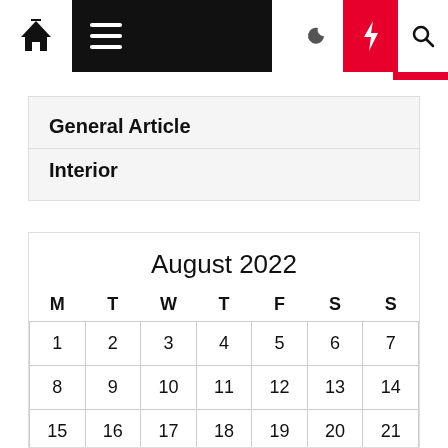Navigation bar with home, hamburger menu, moon, lightning, search icons
General Article
Interior
| M | T | W | T | F | S | S |
| --- | --- | --- | --- | --- | --- | --- |
| 1 | 2 | 3 | 4 | 5 | 6 | 7 |
| 8 | 9 | 10 | 11 | 12 | 13 | 14 |
| 15 | 16 | 17 | 18 | 19 | 20 | 21 |
| 22 | 23 | 24 | 25 | 26 | 27 | 28 |
|  |  |  |  |  |  |  |